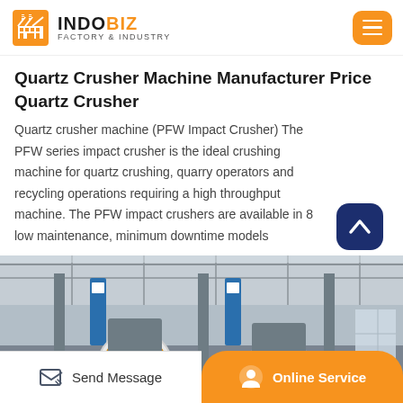INDOBIZ FACTORY & INDUSTRY
Quartz Crusher Machine Manufacturer Price Quartz Crusher
Quartz crusher machine (PFW Impact Crusher) The PFW series impact crusher is the ideal crushing machine for quartz crushing, quarry operators and recycling operations requiring a high throughput machine. The PFW impact crushers are available in 8 low maintenance, minimum downtime models
[Figure (photo): Factory interior showing industrial crushing machinery with orange circular components, large warehouse structure with metal roof trusses and blue banners.]
Send Message | Online Service